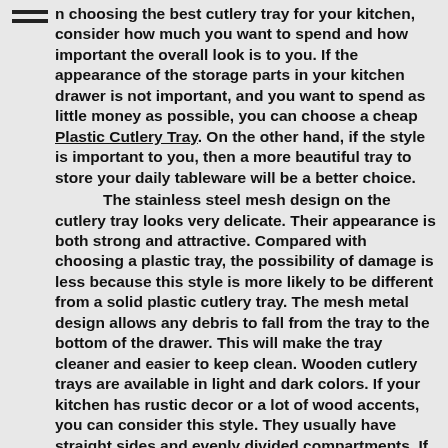n choosing the best cutlery tray for your kitchen, consider how much you want to spend and how important the overall look is to you. If the appearance of the storage parts in your kitchen drawer is not important, and you want to spend as little money as possible, you can choose a cheap Plastic Cutlery Tray. On the other hand, if the style is important to you, then a more beautiful tray to store your daily tableware will be a better choice.

The stainless steel mesh design on the cutlery tray looks very delicate. Their appearance is both strong and attractive. Compared with choosing a plastic tray, the possibility of damage is less because this style is more likely to be different from a solid plastic cutlery tray. The mesh metal design allows any debris to fall from the tray to the bottom of the drawer. This will make the tray cleaner and easier to keep clean. Wooden cutlery trays are available in light and dark colors. If your kitchen has rustic decor or a lot of wood accents, you can consider this style. They usually have straight sides and evenly divided compartments. If you like the warmth of wood, this tray may be more suitable for you than metal or plastic cutlery racks. If you are choosing a plastic tray, consider choosing a thick and sturdy tray. You can also choose a round, molded